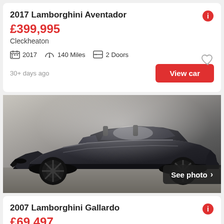2017 Lamborghini Aventador
£399,995
Cleckheaton
2017  140 Miles  2 Doors
30+ days ago
View car
[Figure (photo): Dark grey Lamborghini Gallardo convertible sports car photographed in a garage setting, viewed from the front-right angle]
See photo >
2007 Lamborghini Gallardo
£69,497
Henley-on-Thames